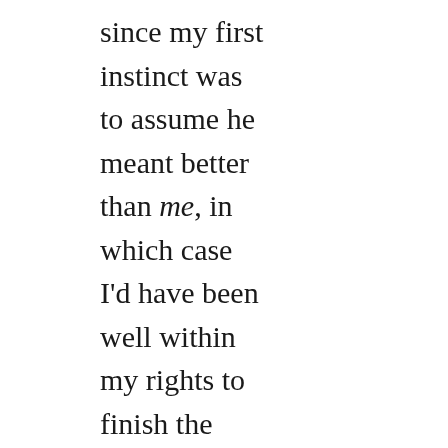since my first instinct was to assume he meant better than me, in which case I'd have been well within my rights to finish the rest of the whisky and throw the ice cubes in his face for spite. But no, he